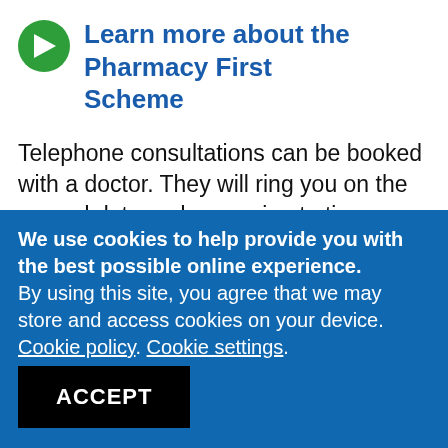Learn more about the Pharmacy First Scheme
Telephone consultations can be booked with a doctor. They will ring you on the agreed date and approximate time on the telephone number you
We use cookies to help provide you with the best possible online experience.
By using this site, you agree that we may store and access cookies on your device. Cookie policy. Cookie settings.
ACCEPT